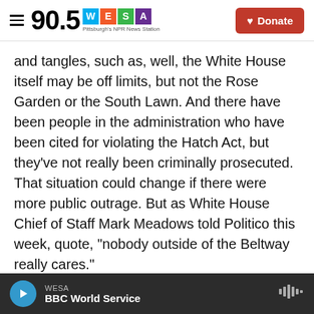90.5 WESA Pittsburgh's NPR News Station | Donate
and tangles, such as, well, the White House itself may be off limits, but not the Rose Garden or the South Lawn. And there have been people in the administration who have been cited for violating the Hatch Act, but they've not really been criminally prosecuted. That situation could change if there were more public outrage. But as White House Chief of Staff Mark Meadows told Politico this week, quote, "nobody outside of the Beltway really cares."
SIMON: It's irresistible to compare and contrast the conventions. What did you notice this week now
WESA | BBC World Service